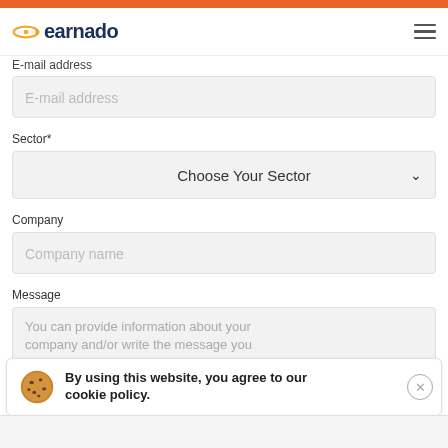[Figure (logo): Earnado logo with golden ring/arrow icon and dark blue text 'earnado']
E-mail address
E-mail address (placeholder)
Sector*
Choose Your Sector
Company
Company name (placeholder)
Message
You can provide information about your company and/or write the message you
By using this website, you agree to our cookie policy.